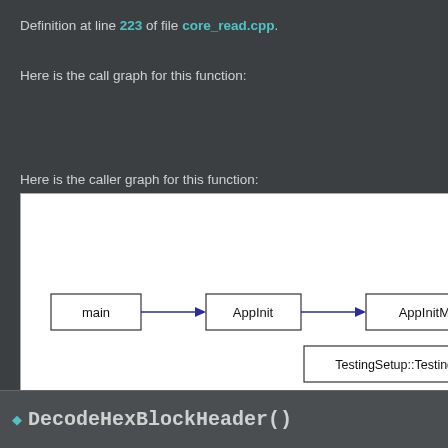Definition at line 223 of file core_read.cpp.
Here is the call graph for this function:
Here is the caller graph for this function:
[Figure (flowchart): Caller graph showing: main -> AppInit -> AppInitMain -> (arrow continues off screen), and TestingSetup::TestingSetup -> (arrow continues off screen)]
◆ DecodeHexBlockHeader()